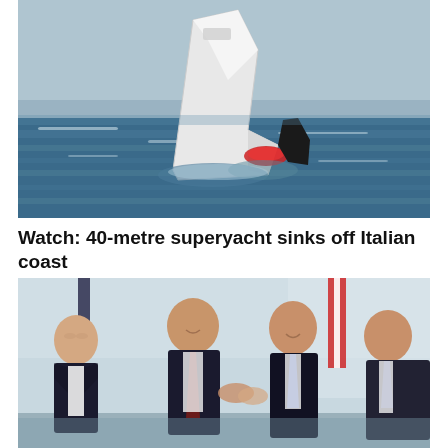[Figure (photo): A sinking superyacht with its stern raised out of rough blue ocean water, showing the white hull, dark stabilizer fin, and red flotation device near the waterline.]
Watch: 40-metre superyacht sinks off Italian coast
[Figure (photo): Group of suited men smiling and shaking hands at what appears to be a diplomatic or political meeting, with flags visible in the background including a Canadian flag.]